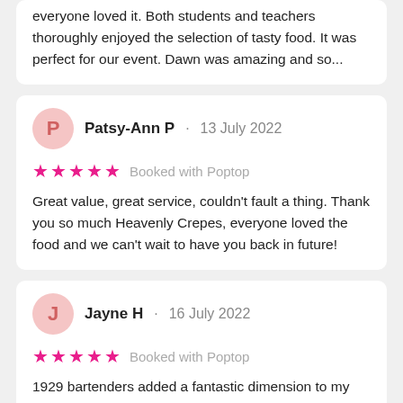everyone loved it. Both students and teachers thoroughly enjoyed the selection of tasty food. It was perfect for our event. Dawn was amazing and so...
Patsy-Ann P · 13 July 2022
★★★★★ Booked with Poptop
Great value, great service, couldn't fault a thing. Thank you so much Heavenly Crepes, everyone loved the food and we can't wait to have you back in future!
Jayne H · 16 July 2022
★★★★★ Booked with Poptop
1929 bartenders added a fantastic dimension to my birthday party! My guests loved having cocktails made for them and it saved me a lot of work. The team were